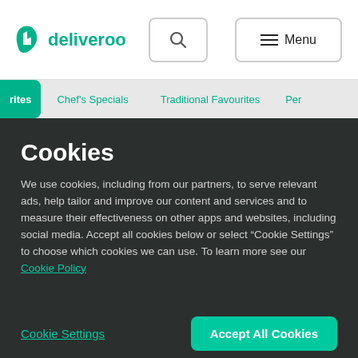deliveroo — navigation bar with search and menu
rites   Chef's Specials   Traditional Favourites   Per
Cookies
We use cookies, including from our partners, to serve relevant ads, help tailor and improve our content and services and to measure their effectiveness on other apps and websites, including social media. Accept all cookies below or select “Cookie Settings” to choose which cookies we can use. To learn more see our Cookie Policy
Cookie Settings
Accept All Cookies